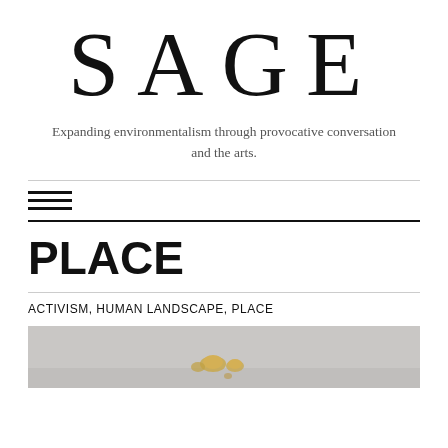SAGE
Expanding environmentalism through provocative conversation and the arts.
[Figure (screenshot): Hamburger/menu icon with three horizontal lines]
PLACE
ACTIVISM, HUMAN LANDSCAPE, PLACE
[Figure (photo): Partial photo of what appears to be small gold objects on a grey surface]